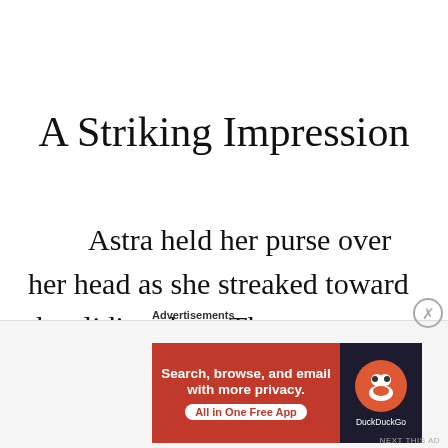A Striking Impression
Astra held her purse over her head as she streaked toward the sliding door. The sensors detected her and granted entry. Panting, she turned around to see
[Figure (other): DuckDuckGo advertisement banner with orange background, text 'Search, browse, and email with more privacy. All in One Free App' and DuckDuckGo logo on dark background]
Advertisements